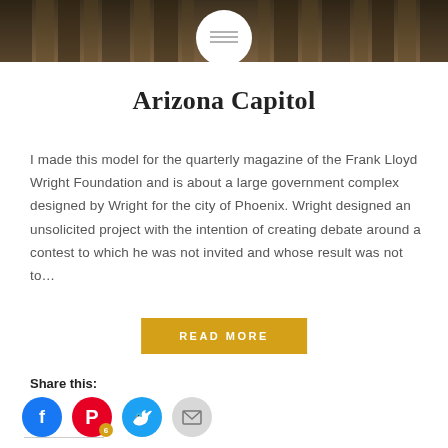[Figure (photo): Website header image showing architectural columns of a building, dark brownish tones with a white circular logo/menu button centered at the top]
Arizona Capitol
I made this model for the quarterly magazine of the Frank Lloyd Wright Foundation and is about a large government complex designed by Wright for the city of Phoenix. Wright designed an unsolicited project with the intention of creating debate around a contest to which he was not invited and whose result was not to…
READ MORE
Share this:
[Figure (infographic): Social share icons: Facebook (blue circle), Pinterest (red circle with badge '6'), Twitter (cyan circle), Email (light grey circle)]